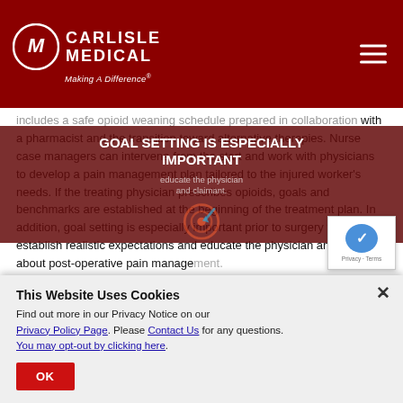[Figure (logo): Carlisle Medical logo with circular CM icon and tagline 'Making A Difference']
includes a safe opioid weaning schedule prepared in collaboration with a pharmacist and the transition toward alternative therapies. Nurse case managers can intervene from the start and work with physicians to develop a pain management plan tailored to the injured worker's needs. If the treating physician prescribes opioids, goals and benchmarks are established at the beginning of the treatment plan. In addition, goal setting is especially important prior to surgery to help establish realistic expectations and educate the physician and claimant about post-operative pain management.
GOAL SETTING IS ESPECIALLY IMPORTANT
This Website Uses Cookies
Find out more in our Privacy Notice on our Privacy Policy Page. Please Contact Us for any questions. You may opt-out by clicking here.
OK